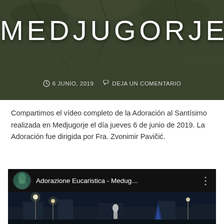[Figure (photo): Dark background with branches/leaves texture overlaid with dark tint. Large white text 'MEDJUGORJE' centered on image. Below shows date '6 JUNIO, 2019' with clock icon and 'DEJA UN COMENTARIO' with comment icon.]
MEDJUGORJE
6 JUNIO, 2019   DEJA UN COMENTARIO
Compartimos el vídeo completo de la Adoración al Santísimo realizada en Medjugorje el día jueves 6 de junio de 2019. La Adoración fue dirigida por Fra. Zvonimir Pavičić.
[Figure (screenshot): YouTube video embed showing 'Adorazione Eucaristica - Medug...' with channel avatar on left and three-dot menu on right. Video thumbnail shows a nighttime outdoor scene with lamp posts, a white statue figure, and a blue light beam.]